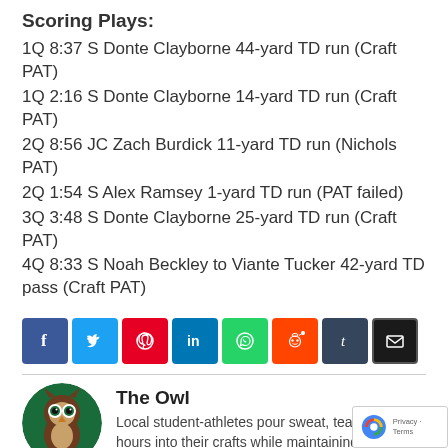Scoring Plays:
1Q 8:37 S Donte Clayborne 44-yard TD run (Craft PAT)
1Q 2:16 S Donte Clayborne 14-yard TD run (Craft PAT)
2Q 8:56 JC Zach Burdick 11-yard TD run (Nichols PAT)
2Q 1:54 S Alex Ramsey 1-yard TD run (PAT failed)
3Q 3:48 S Donte Clayborne 25-yard TD run (Craft PAT)
4Q 8:33 S Noah Beckley to Viante Tucker 42-yard TD pass (Craft PAT)
[Figure (infographic): Social media share buttons: Facebook, Twitter, Pinterest, LinkedIn, WhatsApp, Reddit, Tumblr, Email]
The Owl
Local student-athletes pour sweat, tears and hours into their crafts while maintaining eligible